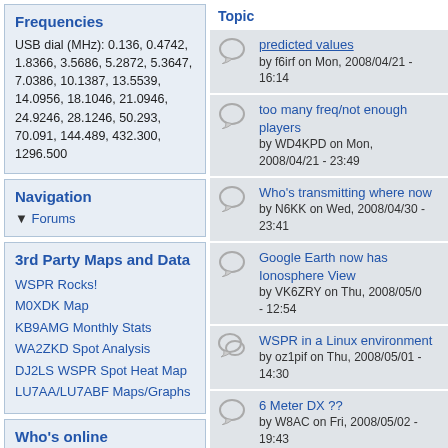Frequencies
USB dial (MHz): 0.136, 0.4742, 1.8366, 3.5686, 5.2872, 5.3647, 7.0386, 10.1387, 13.5539, 14.0956, 18.1046, 21.0946, 24.9246, 28.1246, 50.293, 70.091, 144.489, 432.300, 1296.500
Navigation
Forums
3rd Party Maps and Data
WSPR Rocks!
M0XDK Map
KB9AMG Monthly Stats
WA2ZKD Spot Analysis
DJ2LS WSPR Spot Heat Map
LU7AA/LU7ABF Maps/Graphs
Who's online
Topic
predicted values
by f6irf on Mon, 2008/04/21 - 16:14
too many freq/not enough players
by WD4KPD on Mon, 2008/04/21 - 23:49
Who's transmitting where now
by N6KK on Wed, 2008/04/30 - 23:41
Google Earth now has Ionosphere View
by VK6ZRY on Thu, 2008/05/0 - 12:54
WSPR in a Linux environment
by oz1pif on Thu, 2008/05/01 - 14:30
6 Meter DX ??
by W8AC on Fri, 2008/05/02 - 19:43
Remote uses of WSPR via